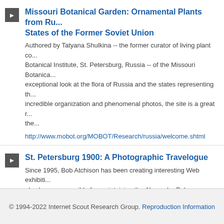Missouri Botanical Garden: Ornamental Plants from Ru... States of the Former Soviet Union
Authored by Tatyana Shulkina -- the former curator of living plant co... Botanical Institute, St. Petersburg, Russia -- of the Missouri Botanica... exceptional look at the flora of Russia and the states representing th... incredible organization and phenomenal photos, the site is a great r... the...
http://www.mobot.org/MOBOT/Research/russia/welcome.shtml
St. Petersburg 1900: A Photographic Travelogue
Since 1995, Bob Atchison has been creating interesting Web exhibiti... also been responsible for maintaining the Alexander Palace Russian... features a number of specific exhibits that deal with such topics as t... most recent creation is this photographic travelogue of St. Petersbu... Imperial...
https://www.alexanderpalace.org/petersburg1900/index.html
Browse by GEM Subject
© 1994-2022 Internet Scout Research Group. Reproduction Information